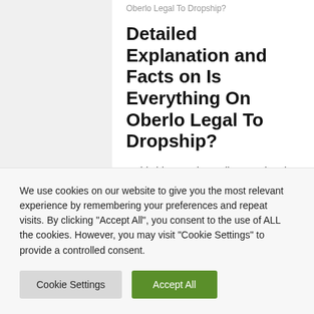Oberlo Legal To Dropship?
Detailed Explanation and Facts on Is Everything On Oberlo Legal To Dropship?
In this blog, we have discussed and analyzed Is Everything On Oberlo Legal To Dropship? in various
We use cookies on our website to give you the most relevant experience by remembering your preferences and repeat visits. By clicking "Accept All", you consent to the use of ALL the cookies. However, you may visit "Cookie Settings" to provide a controlled consent.